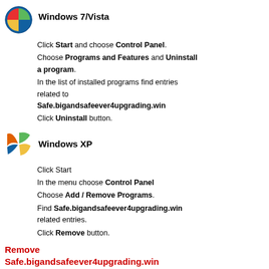[Figure (logo): Windows 7/Vista logo icon - circular with four colored quadrants (red, green, blue, yellow)]
Windows 7/Vista
Click Start and choose Control Panel.
Choose Programs and Features and Uninstall a program.
In the list of installed programs find entries related to
Safe.bigandsafeever4upgrading.win
Click Uninstall button.
[Figure (logo): Windows XP logo icon - four colored flag segments (orange, green, blue, yellow)]
Windows XP
Click Start
In the menu choose Control Panel
Choose Add / Remove Programs.
Find Safe.bigandsafeever4upgrading.win related entries.
Click Remove button.
Remove Safe.bigandsafeever4upgrading.win related extensions from your browsers
Safe.bigandsafeever4upgrading.win in some cases